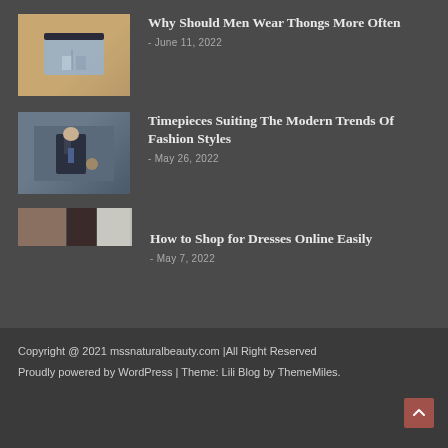[Figure (photo): Thumbnail image of gray boxer briefs on orange background]
Why Should Men Wear Thongs More Often
- June 11, 2022
[Figure (photo): Thumbnail image of man in suit checking watch]
Timepieces Suiting The Modern Trends Of Fashion Styles
- May 26, 2022
[Figure (photo): Small strip thumbnails of fashion images]
How to Shop for Dresses Online Easily
- May 7, 2022
Copyright @ 2021 mssnaturalbeauty.com |All Right Reserved
Proudly powered by WordPress | Theme: Lili Blog by ThemeMiles.